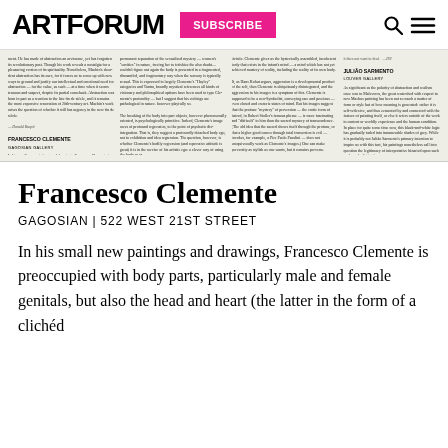ARTFORUM | SUBSCRIBE
[Figure (screenshot): Scanned magazine article page showing columns of text with section headers 'FRANCESCO CLEMENTE / GAGOSIAN GALLERY' and 'JULIÃO SARMENTO / LOUVER GALLERY']
Francesco Clemente
GAGOSIAN | 522 WEST 21ST STREET
In his small new paintings and drawings, Francesco Clemente is preoccupied with body parts, particularly male and female genitals, but also the head and heart (the latter in the form of a clichéd